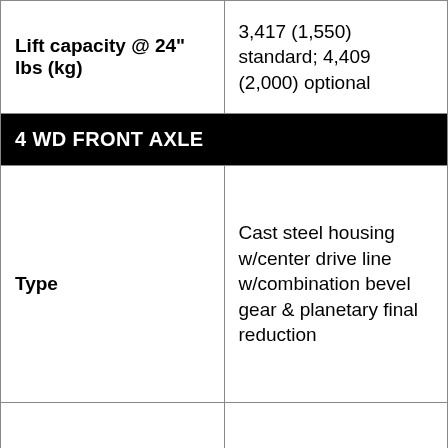| Lift capacity @ 24" lbs (kg) | 3,417 (1,550) standard; 4,409 (2,000) optional |
| 4 WD FRONT AXLE |  |
| Type | Cast steel housing w/center drive line w/combination bevel gear & planetary final reduction |
| Drive engagement | Mechanical engagement via hand lever |
| REAR AXLE |  |